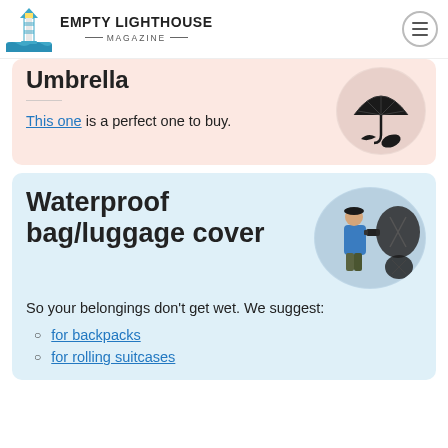EMPTY LIGHTHOUSE MAGAZINE
Umbrella
This one is a perfect one to buy.
[Figure (photo): Black folding umbrella product photo on pink/light background]
Waterproof bag/luggage cover
[Figure (photo): Person wearing blue jacket with large backpack and waterproof cover products shown on light blue background]
So your belongings don't get wet. We suggest:
for backpacks
for rolling suitcases